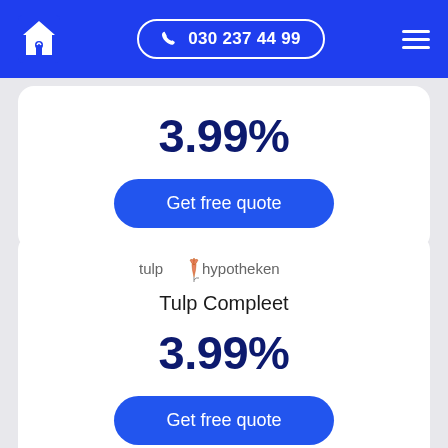030 237 44 99
3.99%
Get free quote
[Figure (logo): Tulp Hypotheken logo with tulip icon]
Tulp Compleet
3.99%
Get free quote